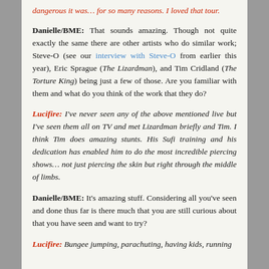dangerous it was… for so many reasons. I loved that tour.
Danielle/BME: That sounds amazing. Though not quite exactly the same there are other artists who do similar work; Steve-O (see our interview with Steve-O from earlier this year), Eric Sprague (The Lizardman), and Tim Cridland (The Torture King) being just a few of those. Are you familiar with them and what do you think of the work that they do?
Lucifire: I've never seen any of the above mentioned live but I've seen them all on TV and met Lizardman briefly and Tim. I think Tim does amazing stunts. His Sufi training and his dedication has enabled him to do the most incredible piercing shows… not just piercing the skin but right through the middle of limbs.
Danielle/BME: It's amazing stuff. Considering all you've seen and done thus far is there much that you are still curious about that you have seen and want to try?
Lucifire: Bungee jumping, parachuting, having kids, running